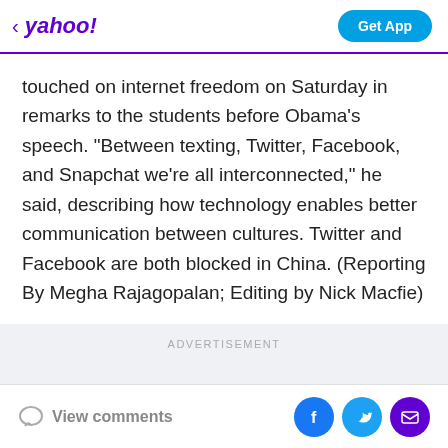yahoo! | Get App
touched on internet freedom on Saturday in remarks to the students before Obama's speech. "Between texting, Twitter, Facebook, and Snapchat we're all interconnected," he said, describing how technology enables better communication between cultures. Twitter and Facebook are both blocked in China. (Reporting By Megha Rajagopalan; Editing by Nick Macfie)
ADVERTISEMENT
View comments | Facebook | Twitter | Mail